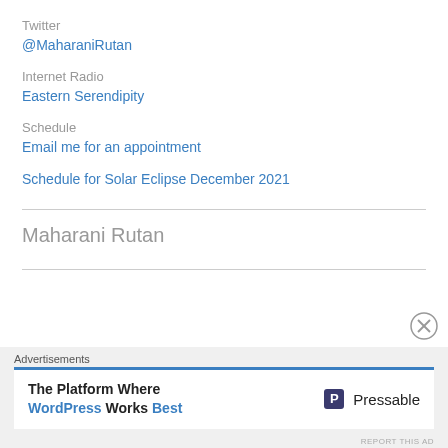Twitter
@MaharaniRutan
Internet Radio
Eastern Serendipity
Schedule
Email me for an appointment
Schedule for Solar Eclipse December 2021
Maharani Rutan
Advertisements
The Platform Where WordPress Works Best
Pressable
REPORT THIS AD